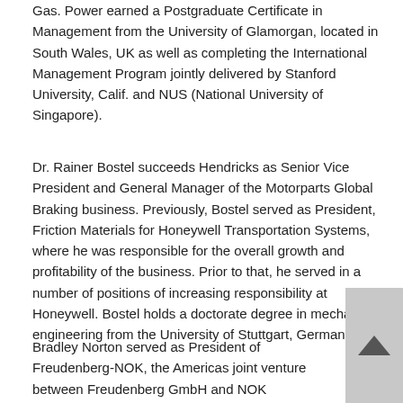Gas. Power earned a Postgraduate Certificate in Management from the University of Glamorgan, located in South Wales, UK as well as completing the International Management Program jointly delivered by Stanford University, Calif. and NUS (National University of Singapore).
Dr. Rainer Bostel succeeds Hendricks as Senior Vice President and General Manager of the Motorparts Global Braking business. Previously, Bostel served as President, Friction Materials for Honeywell Transportation Systems, where he was responsible for the overall growth and profitability of the business. Prior to that, he served in a number of positions of increasing responsibility at Honeywell. Bostel holds a doctorate degree in mechanical engineering from the University of Stuttgart, Germany.
Bradley Norton served as President of Freudenberg-NOK, the Americas joint venture between Freudenberg GmbH and NOK Corporation, prior to this appointment. Previously, Norton held various leadership positions with BorgWarner, Nissan North America and AlliedSignal. Norton earned a bachelor’s degree in finance from the University of Akron and a master’s degree in business administration from Ashland University, both located in Ohio.